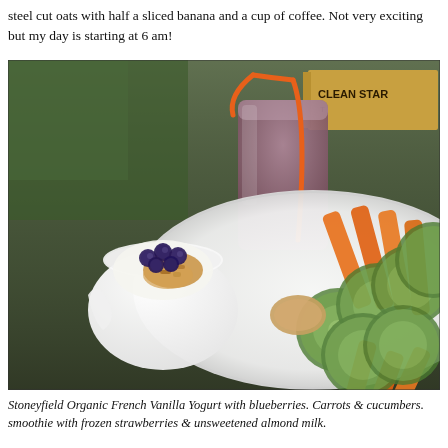steel cut oats with half a sliced banana and a cup of coffee.  Not very exciting but my day is starting at 6 am!
[Figure (photo): A plate with sliced cucumbers, baby carrots, and a small white dish containing granola, blueberries, and yogurt. In the background is a smoothie glass with an orange straw and a book titled 'CLEAN STAR...']
Stoneyfield Organic French Vanilla Yogurt with blueberries. Carrots & cucumbers. smoothie with frozen strawberries & unsweetened almond milk.